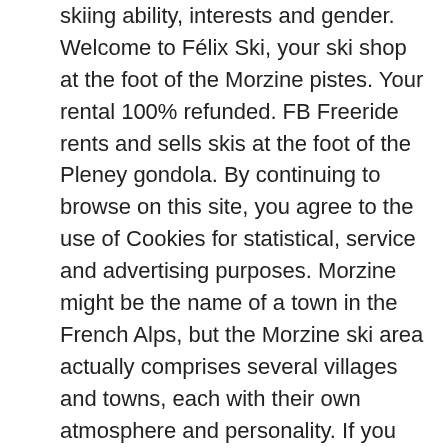skiing ability, interests and gender. Welcome to Félix Ski, your ski shop at the foot of the Morzine pistes. Your rental 100% refunded. FB Freeride rents and sells skis at the foot of the Pleney gondola. By continuing to browse on this site, you agree to the use of Cookies for statistical, service and advertising purposes. Morzine might be the name of a town in the French Alps, but the Morzine ski area actually comprises several villages and towns, each with their own atmosphere and personality. If you are looking for a winter holiday in the heart of Morzine, then Ski Morzine have a range of beautiful chalets to choose from . Make the most of your holidays! Ski hire in Morzine, snowboard hire but also mountain bike hire, a boutique section and many other services. Alpine Sports, much more than just rentals, is on the main Route de la Plagne in the heart of Morzine, an ideal location to get you kitted out and then onto the lifts in a matter % of minutes. We will find the best answer together! Ski